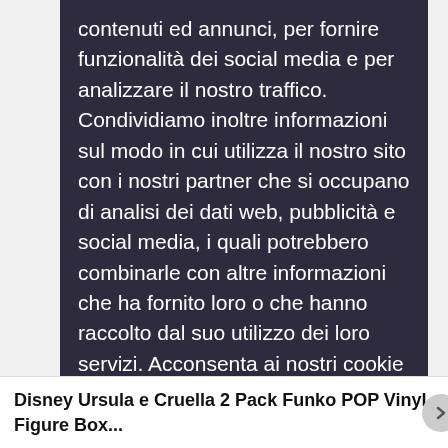contenuti ed annunci, per fornire funzionalità dei social media e per analizzare il nostro traffico. Condividiamo inoltre informazioni sul modo in cui utilizza il nostro sito con i nostri partner che si occupano di analisi dei dati web, pubblicità e social media, i quali potrebbero combinarle con altre informazioni che ha fornito loro o che hanno raccolto dal suo utilizzo dei loro servizi. Acconsenta ai nostri cookie se continua ad utilizzare il nostro sito web. Ti Ricordiamo che Ogni 30 Giorni Ti sarà richiesta questa conferma,
Leggi la Nostra Privacy Policy Completa
Accetta Cookies
Personalizza Cookies
Dichiarazione Cookie aggiornata l'ultima volta il 23/05/2018
Disney Ursula e Cruella 2 Pack Funko POP Vinyl Figure Box...